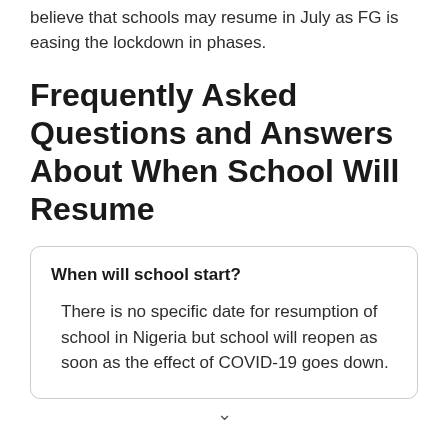believe that schools may resume in July as FG is easing the lockdown in phases.
Frequently Asked Questions and Answers About When School Will Resume
When will school start?
There is no specific date for resumption of school in Nigeria but school will reopen as soon as the effect of COVID-19 goes down.
chevron down indicator